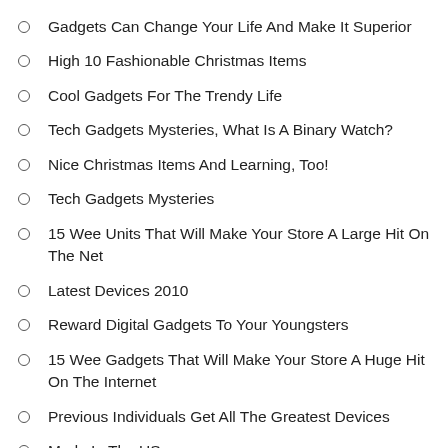Gadgets Can Change Your Life And Make It Superior
High 10 Fashionable Christmas Items
Cool Gadgets For The Trendy Life
Tech Gadgets Mysteries, What Is A Binary Watch?
Nice Christmas Items And Learning, Too!
Tech Gadgets Mysteries
15 Wee Units That Will Make Your Store A Large Hit On The Net
Latest Devices 2010
Reward Digital Gadgets To Your Youngsters
15 Wee Gadgets That Will Make Your Store A Huge Hit On The Internet
Previous Individuals Get All The Greatest Devices
Made In The US